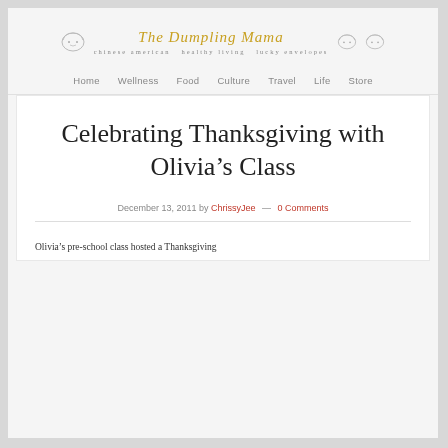The Dumpling Mama — chinese american · healthy living · lucky envelopes
Home · Wellness · Food · Culture · Travel · Life · Store
Celebrating Thanksgiving with Olivia's Class
December 13, 2011 by ChrissyJee — 0 Comments
Olivia's pre-school class hosted a Thanksgiving